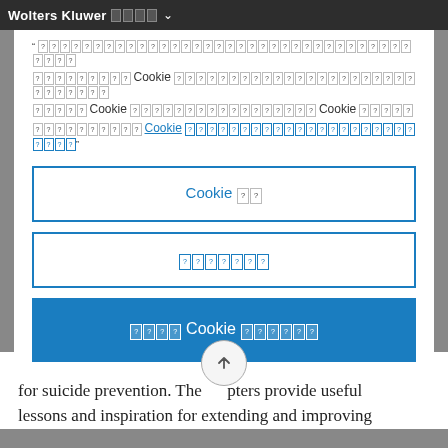Wolters Kluwer [logo] ∨
" [garbled characters] Cookie [garbled] Cookie [garbled] Cookie [garbled] Cookie [garbled] "
Cookie 設定 (button - outline)
[garbled characters] (button - outline)
[garbled] Cookie [garbled] (button - solid blue)
showing that postvention is becoming a worldwide strategy for suicide prevention. The chapters provide useful lessons and inspiration for extending and improving